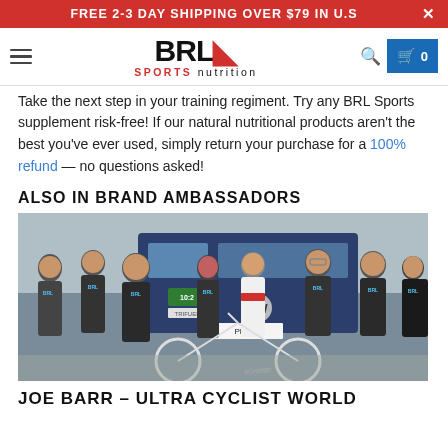FREE 2-3 DAY SHIPPING OVER $79 IN U.S
[Figure (logo): BRL Sports Nutrition logo with hamburger menu, search icon and cart]
Take the next step in your training regiment. Try any BRL Sports supplement risk-free! If our natural nutritional products aren't the best you've ever used, simply return your purchase for a 100% refund — no questions asked!
ALSO IN BRAND AMBASSADORS
[Figure (photo): Group photo of BRL Sports Nutrition team members wearing BRL branded black t-shirts, standing in front of a dark blue Volkswagen van, with one person in white cycling gear holding a racing bicycle]
JOE BARR – ULTRA CYCLIST WORLD